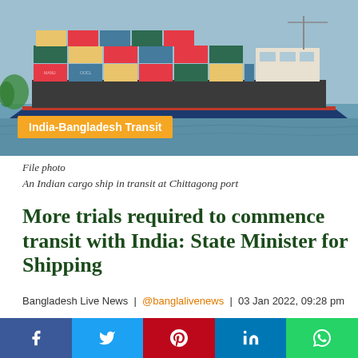[Figure (photo): Cargo ship loaded with colorful shipping containers at Chittagong port with orange 'India-Bangladesh Transit' label badge overlay]
File photo
An Indian cargo ship in transit at Chittagong port
More trials required to commence transit with India: State Minister for Shipping
Bangladesh Live News | @banglalivenews | 03 Jan 2022, 09:28 pm
#IndiaBangladeshTransit, #ChittagongPort,